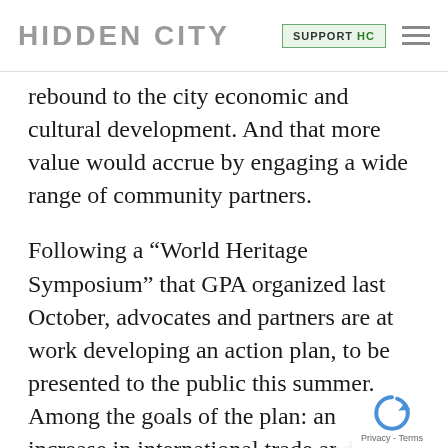HIDDEN CITY | SUPPORT HC
rebound to the city economic and cultural development. And that more value would accrue by engaging a wide range of community partners.
Following a “World Heritage Symposium” that GPA organized last October, advocates and partners are at work developing an action plan, to be presented to the public this summer. Among the goals of the plan: an increase in international trade and cultural exchange, heightened preserva- of Philadelphia national landmarks (many of